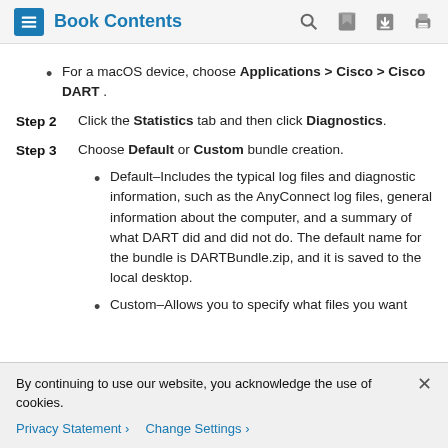Book Contents
For a macOS device, choose Applications > Cisco > Cisco DART .
Step 2  Click the Statistics tab and then click Diagnostics.
Step 3  Choose Default or Custom bundle creation.
Default–Includes the typical log files and diagnostic information, such as the AnyConnect log files, general information about the computer, and a summary of what DART did and did not do. The default name for the bundle is DARTBundle.zip, and it is saved to the local desktop.
Custom–Allows you to specify what files you want
By continuing to use our website, you acknowledge the use of cookies.
Privacy Statement >  Change Settings >